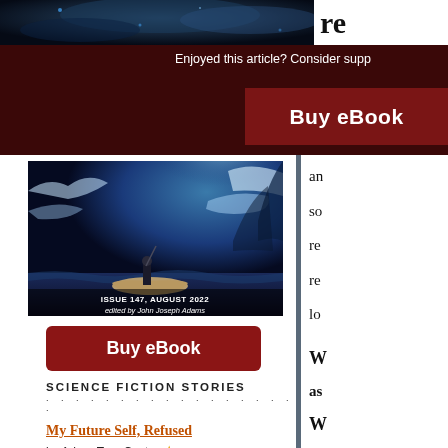[Figure (screenshot): Top dark red banner section showing a cropped sci-fi image on the left, partial text 're' on the right, and 'Enjoyed this article? Consider supp...' text with a 'Buy eBook' button on dark background]
[Figure (illustration): Book cover for Lightspeed Magazine Issue 147, August 2022, edited by John Joseph Adams. Shows a figure in a rowboat on alien waters with dramatic blue/teal sky and clouds.]
Buy eBook
SCIENCE FICTION STORIES
My Future Self, Refused
by Adam-Troy Castro